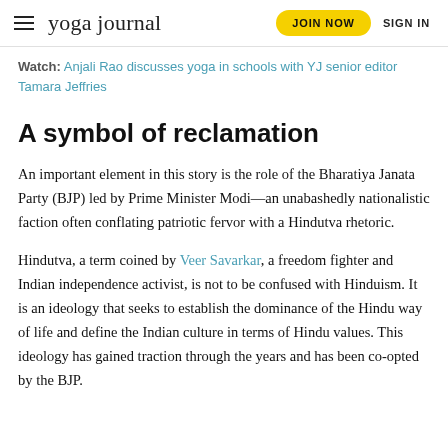yoga journal  JOIN NOW  SIGN IN
Watch: Anjali Rao discusses yoga in schools with YJ senior editor Tamara Jeffries
A symbol of reclamation
An important element in this story is the role of the Bharatiya Janata Party (BJP) led by Prime Minister Modi—an unabashedly nationalistic faction often conflating patriotic fervor with a Hindutva rhetoric.
Hindutva, a term coined by Veer Savarkar, a freedom fighter and Indian independence activist, is not to be confused with Hinduism. It is an ideology that seeks to establish the dominance of the Hindu way of life and define the Indian culture in terms of Hindu values. This ideology has gained traction through the years and has been co-opted by the BJP.